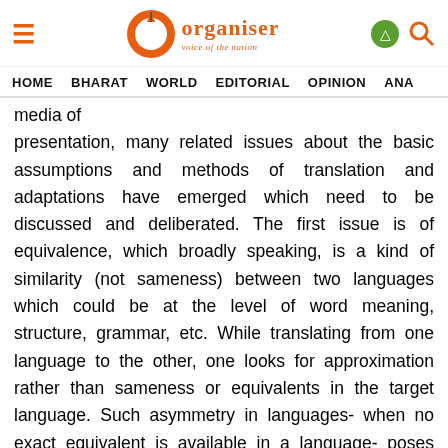Organiser - Voice of the Nation | HOME | BHARAT | WORLD | EDITORIAL | OPINION | ANA
media of presentation, many related issues about the basic assumptions and methods of translation and adaptations have emerged which need to be discussed and deliberated. The first issue is of equivalence, which broadly speaking, is a kind of similarity (not sameness) between two languages which could be at the level of word meaning, structure, grammar, etc. While translating from one language to the other, one looks for approximation rather than sameness or equivalents in the target language. Such asymmetry in languages- when no exact equivalent is available in a language- poses problems for translators and script writers. Then